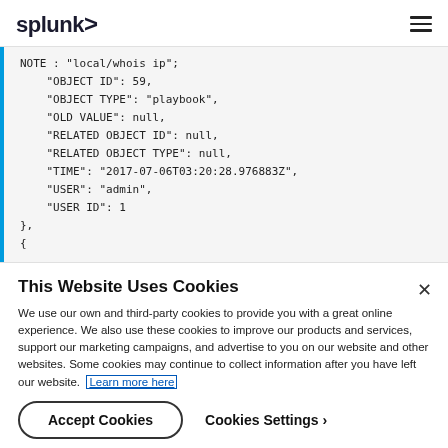splunk>
NOTE : "local/whois ip",
    "OBJECT ID": 59,
    "OBJECT TYPE": "playbook",
    "OLD VALUE": null,
    "RELATED OBJECT ID": null,
    "RELATED OBJECT TYPE": null,
    "TIME": "2017-07-06T03:20:28.976883Z",
    "USER": "admin",
    "USER ID": 1
},
{
This Website Uses Cookies
We use our own and third-party cookies to provide you with a great online experience. We also use these cookies to improve our products and services, support our marketing campaigns, and advertise to you on our website and other websites. Some cookies may continue to collect information after you have left our website. Learn more here
Accept Cookies    Cookies Settings ›